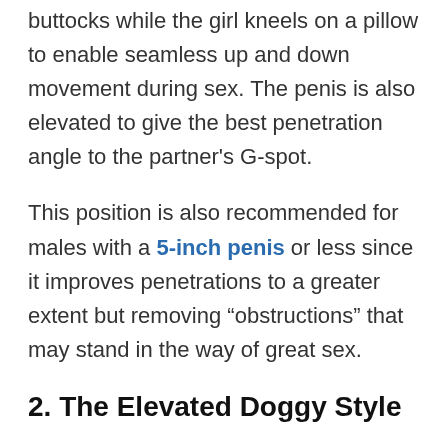buttocks while the girl kneels on a pillow to enable seamless up and down movement during sex. The penis is also elevated to give the best penetration angle to the partner's G-spot.
This position is also recommended for males with a 5-inch penis or less since it improves penetrations to a greater extent but removing "obstructions" that may stand in the way of great sex.
2. The Elevated Doggy Style